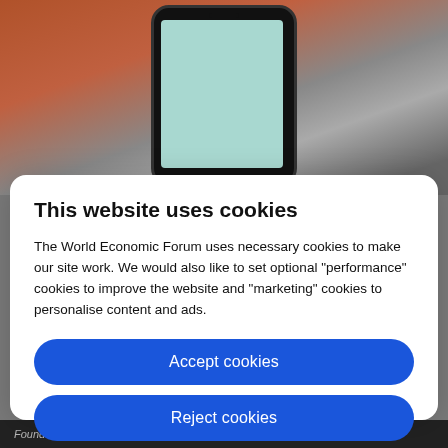[Figure (photo): Background photo showing a person holding a smartphone with a teal/green screen, blurred background with brick/pavement.]
This website uses cookies
The World Economic Forum uses necessary cookies to make our site work. We would also like to set optional "performance" cookies to improve the website and "marketing" cookies to personalise content and ads.
Accept cookies
Reject cookies
Cookie settings
Founder and editor, Visual Capitalist